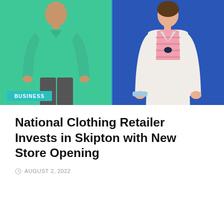[Figure (photo): Two people in colorful clothing against a blue background. Left person wearing a green/teal long-sleeve shirt, right person wearing pink striped top with white jacket. A 'BUSINESS' label overlay in teal is visible at the bottom left of the image.]
National Clothing Retailer Invests in Skipton with New Store Opening
AUGUST 2, 2022